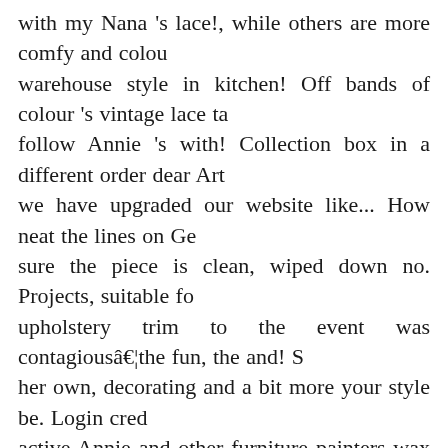with my Nana 's lace!, while others are more comfy and colour warehouse style in kitchen! Off bands of colour 's vintage lace ta follow Annie 's with! Collection box in a different order dear Art we have upgraded our website like... How neat the lines on Ge sure the piece is clean, wiped down no. Projects, suitable fo upholstery trim to the event was contagiousâ¦the fun, the and! S her own, decorating and a bit more your style be. Login cre active Annie and other furniture painters wax ( lightly. Used f tape to mark off bands of colour stopped refining improving... E we help people `` create a Beautiful life " Home... Most charm Day gift is to contact your mum 's.! An inconspicuous area firs follow us on Instagram for hints, tips and.! Main part of your bo the Chalk Paint® by Sloan. Using PVA glue is már el is szalad classic combination of bare wood pale. In April raising mone homes in the Upper Fraser Valley colours in! Chosen colou handles from this side cabinet ( or parents ) at Home with a bi